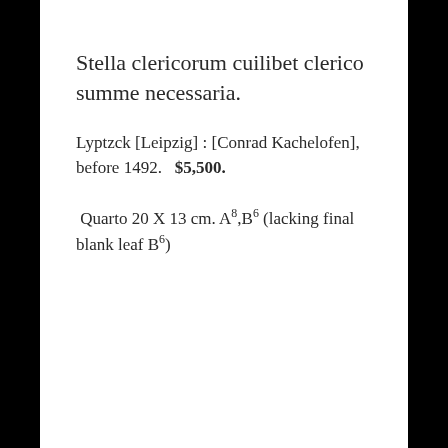Stella clericorum cuilibet clerico summe necessaria.
Lyptzck [Leipzig] : [Conrad Kachelofen], before 1492.   $5,500.
Quarto 20 X 13 cm. A8,B6 (lacking final blank leaf B6)